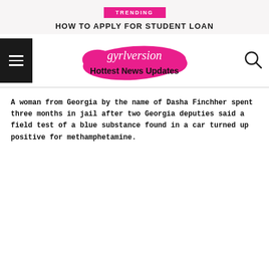TRENDING
HOW TO APPLY FOR STUDENT LOAN
[Figure (logo): gyrlversion Hottest News Updates logo with pink brush stroke background]
A woman from Georgia by the name of Dasha Finchher spent three months in jail after two Georgia deputies said a field test of a blue substance found in a car turned up positive for methamphetamine.